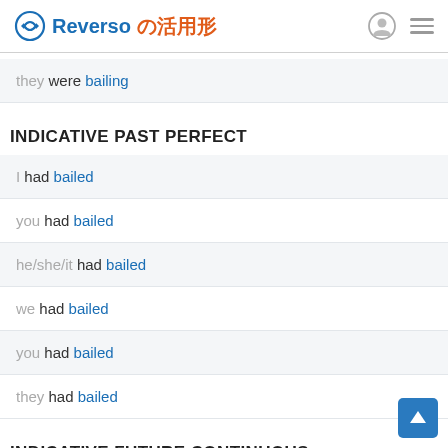Reverso の活用形
they were bailing
INDICATIVE PAST PERFECT
I had bailed
you had bailed
he/she/it had bailed
we had bailed
you had bailed
they had bailed
INDICATIVE FUTURE CONTINUOUS